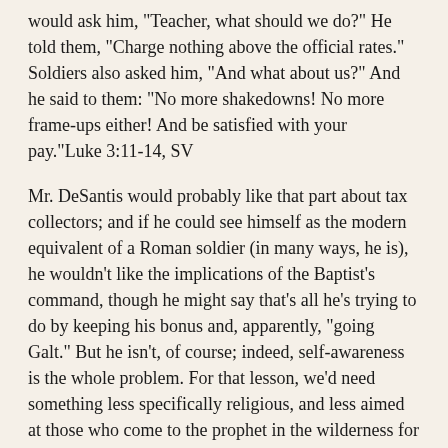would ask him, "Teacher, what should we do?" He told them, "Charge nothing above the official rates." Soldiers also asked him, "And what about us?" And he said to them: "No more shakedowns! No more frame-ups either! And be satisfied with your pay."Luke 3:11-14, SV
Mr. DeSantis would probably like that part about tax collectors; and if he could see himself as the modern equivalent of a Roman soldier (in many ways, he is), he wouldn't like the implications of the Baptist's command, though he might say that's all he's trying to do by keeping his bonus and, apparently, "going Galt." But he isn't, of course; indeed, self-awareness is the whole problem. For that lesson, we'd need something less specifically religious, and less aimed at those who come to the prophet in the wilderness for guidance, and more aimed at those, like Mr. DeSantis and his disgruntled colleagues, who don't.
Fortunately, we have that:
"The large rooms of which you are so proud are in fact your shame. They are big enough to hold crowds--and